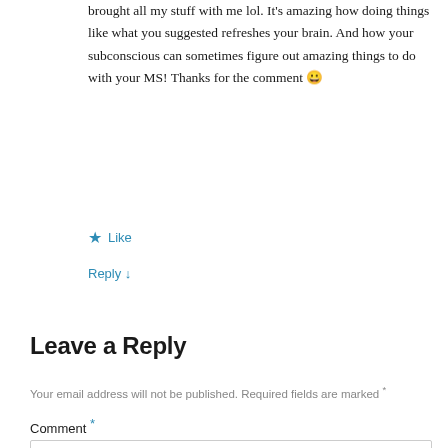brought all my stuff with me lol. It's amazing how doing things like what you suggested refreshes your brain. And how your subconscious can sometimes figure out amazing things to do with your MS! Thanks for the comment 😀
★ Like
Reply ↓
Leave a Reply
Your email address will not be published. Required fields are marked *
Comment *